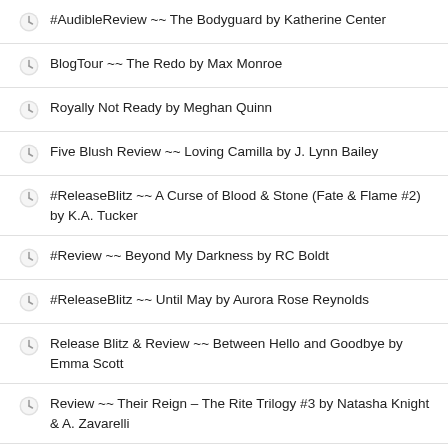#AudibleReview ~~ The Bodyguard by Katherine Center
BlogTour ~~ The Redo by Max Monroe
Royally Not Ready by Meghan Quinn
Five Blush Review ~~ Loving Camilla by J. Lynn Bailey
#ReleaseBlitz ~~ A Curse of Blood & Stone (Fate & Flame #2) by K.A. Tucker
#Review ~~ Beyond My Darkness by RC Boldt
#ReleaseBlitz ~~ Until May by Aurora Rose Reynolds
Release Blitz & Review ~~ Between Hello and Goodbye by Emma Scott
Review ~~ Their Reign – The Rite Trilogy #3 by Natasha Knight & A. Zavarelli